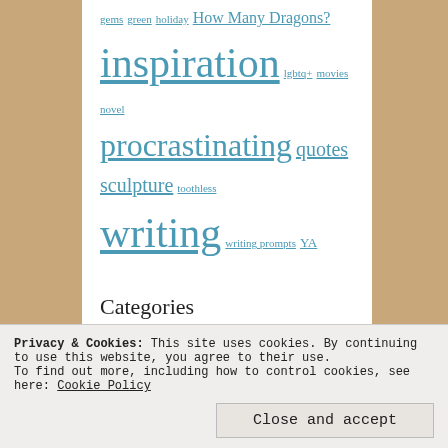gems green holiday How Many Dragons? inspiration lgbtq+ movies novel procrastinating quotes sculpture toothless writing writing prompts YA
Categories
A to Z Challenge 2016 (27)
A to Z Challenge 2017 (24)
A to Z Challenge 2018 (28)
Articles (1)
Birthstone Dragons (24)
Blogging 101 Assignments (6)
Privacy & Cookies: This site uses cookies. By continuing to use this website, you agree to their use. To find out more, including how to control cookies, see here: Cookie Policy